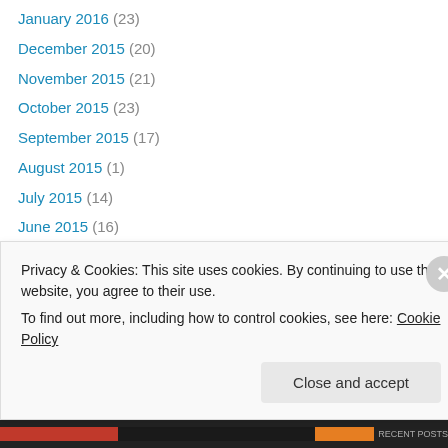January 2016 (23)
December 2015 (20)
November 2015 (21)
October 2015 (23)
September 2015 (17)
August 2015 (1)
July 2015 (14)
June 2015 (16)
May 2015 (9)
April 2015 (7)
March 2015 (12)
February 2015 (7)
January 2015 (10)
December 2014 (6)
Privacy & Cookies: This site uses cookies. By continuing to use this website, you agree to their use. To find out more, including how to control cookies, see here: Cookie Policy